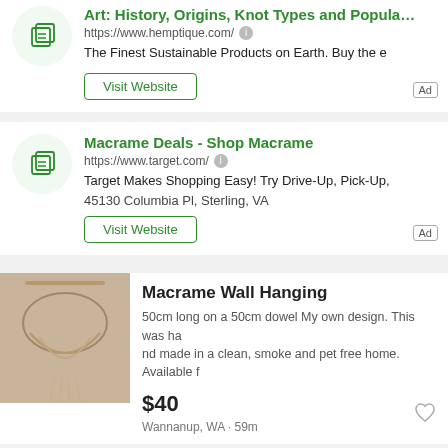[Figure (screenshot): Top ad partial — icon, truncated green title 'Art: History, Origins, Knot Types and Popula…', URL https://www.hemptique.com/, description 'The Finest Sustainable Products on Earth. Buy the e', Visit Website button, Ad badge]
[Figure (screenshot): Ad card — icon, green title 'Macrame Deals - Shop Macrame', URL https://www.target.com/, description 'Target Makes Shopping Easy! Try Drive-Up, Pick-Up,', address '45130 Columbia Pl, Sterling, VA', Visit Website button, Ad badge]
[Figure (screenshot): Listing card — macrame wall hanging photo, title 'Macrame Wall Hanging', description '50cm long on a 50cm dowel My own design. This was ha nd made in a clean, smoke and pet free home. Available f', price '$40', location 'Wannanup, WA · 59m', heart icon]
[Figure (screenshot): Listing card partial — gray image, title 'Stunning XL macrame wall hanging *NE…', partial description 'Stunning XL macrame wall hanging *NEW* Approx 125W']